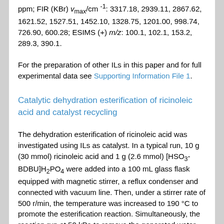ppm; FIR (KBr) νmax/cm⁻¹: 3317.18, 2939.11, 2867.62, 1621.52, 1527.51, 1452.10, 1328.75, 1201.00, 998.74, 726.90, 600.28; ESIMS (+) m/z: 100.1, 102.1, 153.2, 289.3, 390.1.
For the preparation of other ILs in this paper and for full experimental data see Supporting Information File 1.
Catalytic dehydration esterification of ricinoleic acid and catalyst recycling
The dehydration esterification of ricinoleic acid was investigated using ILs as catalyst. In a typical run, 10 g (30 mmol) ricinoleic acid and 1 g (2.6 mmol) [HSO₃-BDBU]H₂PO₄ were added into a 100 mL glass flask equipped with magnetic stirrer, a reflux condenser and connected with vacuum line. Then, under a stirrer rate of 500 r/min, the temperature was increased to 190 °C to promote the esterification reaction. Simultaneously, the reaction run at 50 kPa to remove the generated water. After 2 h of reaction, the reaction mixture was cooled to room temperature for stratifying. The supernatant was oligomeric ricinoleic acid and it could be decanted directly for further treatment and acid value